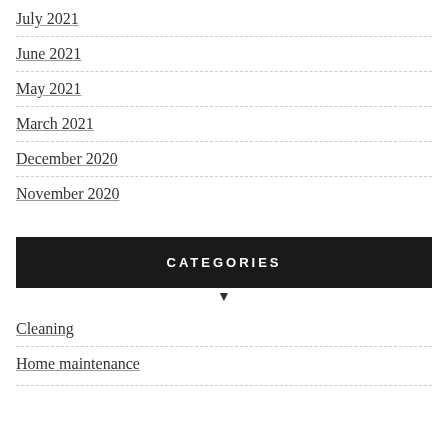July 2021
June 2021
May 2021
March 2021
December 2020
November 2020
CATEGORIES
Cleaning
Home maintenance